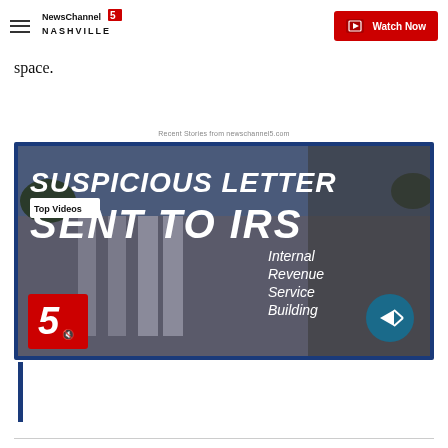NewsChannel 5 Nashville | Watch Now
space.
Recent Stories from newschannel5.com
[Figure (screenshot): Video thumbnail showing 'SUSPICIOUS LETTER SENT TO IRS' with Internal Revenue Service Building signage and NewsChannel 5 logo. Labeled 'Top Videos'.]